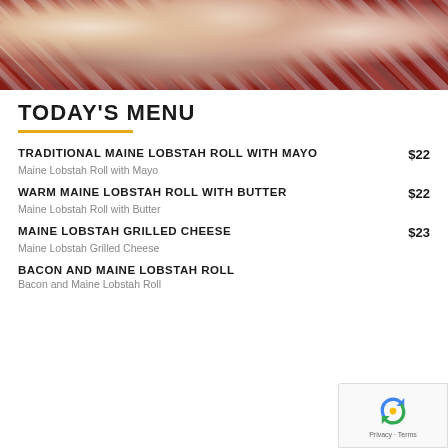[Figure (photo): Close-up photo of a Maine lobster roll on a checkered red and white paper, showing chunks of lobster meat with mayo on a toasted bun]
TODAY'S MENU
TRADITIONAL MAINE LOBSTAH ROLL WITH MAYO  $22
Maine Lobstah Roll with Mayo
WARM MAINE LOBSTAH ROLL WITH BUTTER  $22
Maine Lobstah Roll with Butter
MAINE LOBSTAH GRILLED CHEESE  $23
Maine Lobstah Grilled Cheese
BACON AND MAINE LOBSTAH ROLL
Bacon and Maine Lobstah Roll